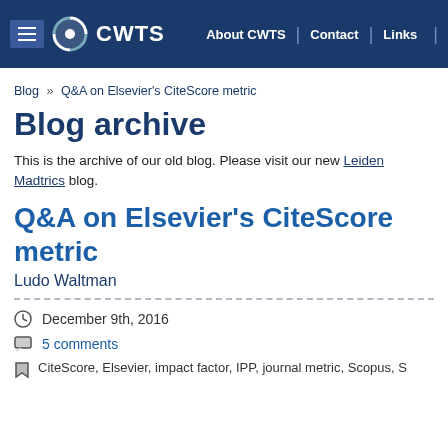CWTS — About CWTS | Contact | Links
Blog » Q&A on Elsevier's CiteScore metric
Blog archive
This is the archive of our old blog. Please visit our new Leiden Madtrics blog.
Q&A on Elsevier's CiteScore metric
Ludo Waltman
December 9th, 2016
5 comments
CiteScore, Elsevier, impact factor, IPP, journal metric, Scopus, S